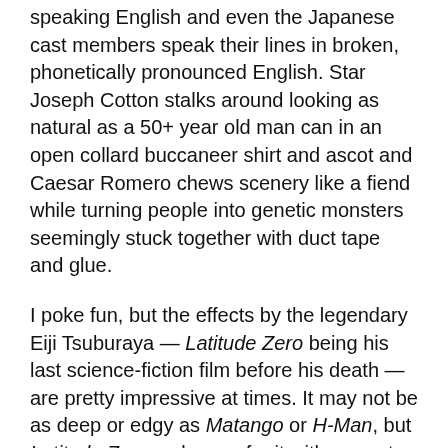speaking English and even the Japanese cast members speak their lines in broken, phonetically pronounced English. Star Joseph Cotton stalks around looking as natural as a 50+ year old man can in an open collard buccaneer shirt and ascot and Caesar Romero chews scenery like a fiend while turning people into genetic monsters seemingly stuck together with duct tape and glue.
I poke fun, but the effects by the legendary Eiji Tsuburaya — Latitude Zero being his last science-fiction film before his death — are pretty impressive at times. It may not be as deep or edgy as Matango or H-Man, but Latitude Zero makes up for it with a great sense of fun and adventure. And the gold bikinis. Can't forget those.
BY THOMAS O'CONNOR — MAY 9, 2014